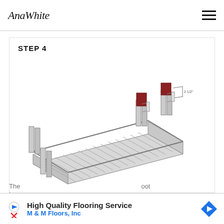AnaWhite
STEP 4
[Figure (engineering-diagram): 3D isometric engineering diagram of a wooden bench or dock frame structure showing a rectangular slatted platform with four vertical post supports at the corners. Two posts on the far side have red-colored lumber pieces attached at the top. A dimension callout shows '2 1/2"' near the red pieces. The frame is drawn in gray with hatched slat lines across the middle section.]
The... oot to p...